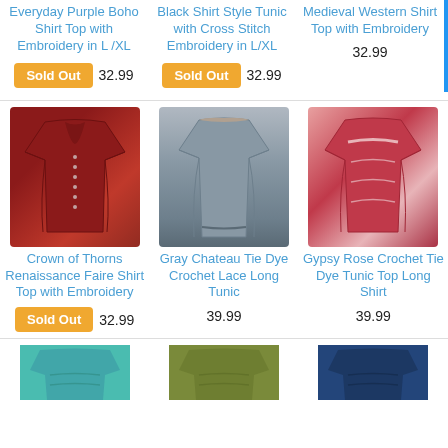Everyday Purple Boho Shirt Top with Embroidery in L/XL
Sold Out  32.99
Black Shirt Style Tunic with Cross Stitch Embroidery in L/XL
Sold Out  32.99
Medieval Western Shirt Top with Embroidery
32.99
[Figure (photo): Red long-sleeve boho shirt top with button details]
Crown of Thorns Renaissance Faire Shirt Top with Embroidery
Sold Out  32.99
[Figure (photo): Gray tie dye crochet lace long tunic]
Gray Chateau Tie Dye Crochet Lace Long Tunic
39.99
[Figure (photo): Pink/red gypsy rose crochet tie dye tunic top]
Gypsy Rose Crochet Tie Dye Tunic Top Long Shirt
39.99
[Figure (photo): Teal tie dye shirt top (partial, bottom of page)]
[Figure (photo): Olive/green shirt top (partial, bottom of page)]
[Figure (photo): Navy blue shirt top (partial, bottom of page)]